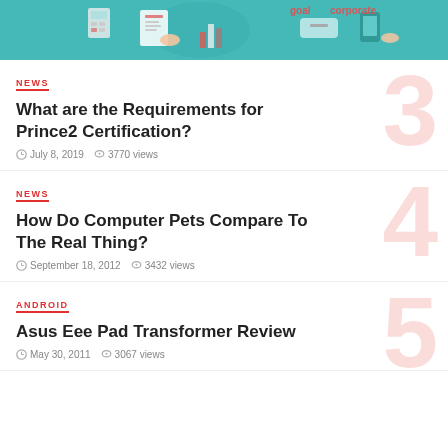[Figure (illustration): Hero banner image with teal background showing business/corporate illustration with hands, documents, charts, speech bubbles, and text words including 'goal', 'corporate']
NEWS
What are the Requirements for Prince2 Certification?
July 8, 2019  3770 views
NEWS
How Do Computer Pets Compare To The Real Thing?
September 18, 2012  3432 views
ANDROID
Asus Eee Pad Transformer Review
May 30, 2011  3067 views